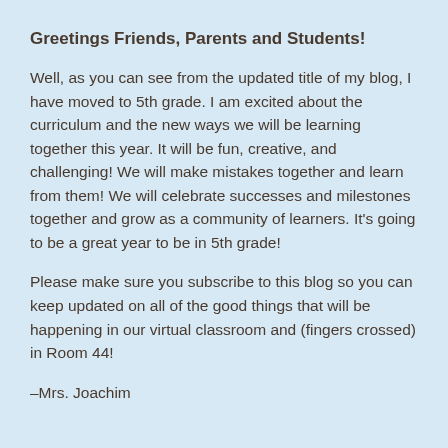Greetings Friends, Parents and Students!
Well, as you can see from the updated title of my blog, I have moved to 5th grade. I am excited about the curriculum and the new ways we will be learning together this year. It will be fun, creative, and challenging! We will make mistakes together and learn from them! We will celebrate successes and milestones together and grow as a community of learners. It’s going to be a great year to be in 5th grade!
Please make sure you subscribe to this blog so you can keep updated on all of the good things that will be happening in our virtual classroom and (fingers crossed) in Room 44!
–Mrs. Joachim